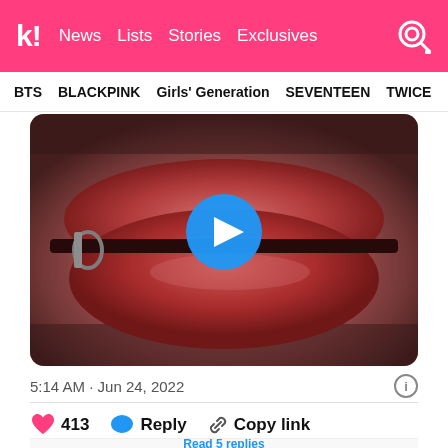k! News Lists Stories Exclusives
BTS  BLACKPINK  Girls' Generation  SEVENTEEN  TWICE
[Figure (photo): Close-up photo of lips with a lip ring/piercing, shown with a blue play button overlay indicating a video]
5:14 AM · Jun 24, 2022
413  Reply  Copy link
Read 5 replies